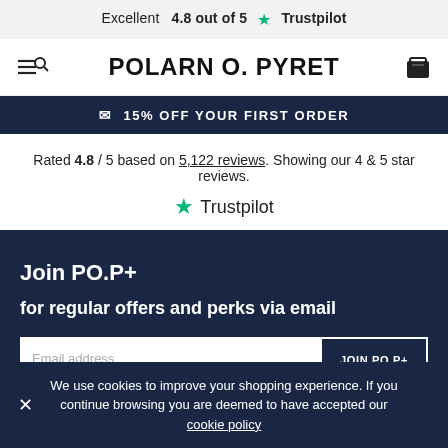Excellent  4.8 out of 5  ★ Trustpilot
[Figure (logo): Polarn O. Pyret brand logo with hamburger/search icon on left and bag icon on right]
✉ 15% OFF YOUR FIRST ORDER
Rated 4.8 / 5 based on 5,122 reviews. Showing our 4 & 5 star reviews.
[Figure (logo): Trustpilot logo with green star]
Join PO.P+
for regular offers and perks via email
We use cookies to improve your shopping experience. If you continue browsing you are deemed to have accepted our cookie policy